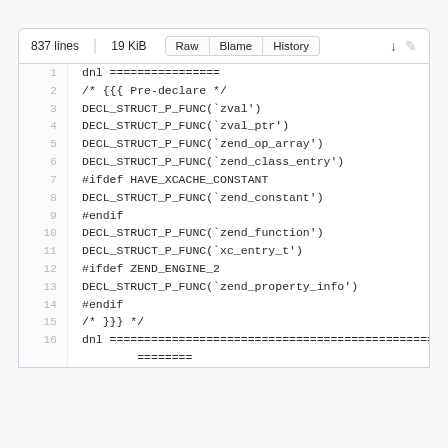[Figure (screenshot): GitHub file viewer showing code file with 837 lines, 19 KiB, with Raw/Blame/History buttons and code lines 1-16 of a source file containing DECL_STRUCT_P_FUNC macros and preprocessor directives]